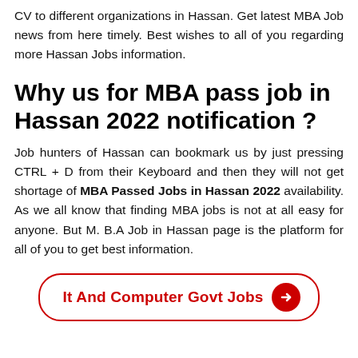CV to different organizations in Hassan. Get latest MBA Job news from here timely. Best wishes to all of you regarding more Hassan Jobs information.
Why us for MBA pass job in Hassan 2022 notification ?
Job hunters of Hassan can bookmark us by just pressing CTRL + D from their Keyboard and then they will not get shortage of MBA Passed Jobs in Hassan 2022 availability. As we all know that finding MBA jobs is not at all easy for anyone. But M. B.A Job in Hassan page is the platform for all of you to get best information.
It And Computer Govt Jobs